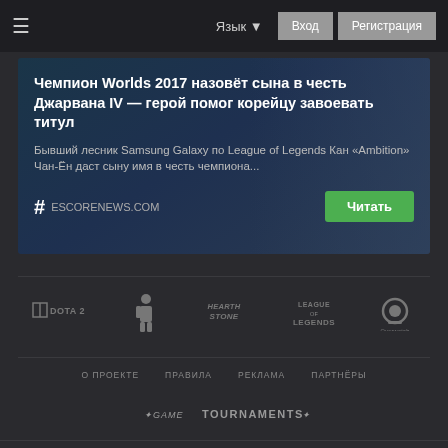≡  Язык ▾  Вход  Регистрация
Чемпион Worlds 2017 назовёт сына в честь Джарвана IV — герой помог корейцу завоевать титул
Бывший лесник Samsung Galaxy по League of Legends Кан «Ambition» Чан-Ён даст сыну имя в честь чемпиона...
# ESCORENEWS.COM
Читать
[Figure (logo): Game logos row: DOTA 2, CS:GO (figure), HearthStone, League of Legends, Overwatch]
О ПРОЕКТЕ   ПРАВИЛА   РЕКЛАМА   ПАРТНЕРЫ
[Figure (logo): GAME TOURNAMENTS brand logo]
game-tournaments.com is operated by GAMEAGEVENTURES LLP, a legal entity registered in United Kingdom, having its registered office at: Sidney Street, Folkestone, Kent, CT19 6HQ, UK; Company No. OC391978.